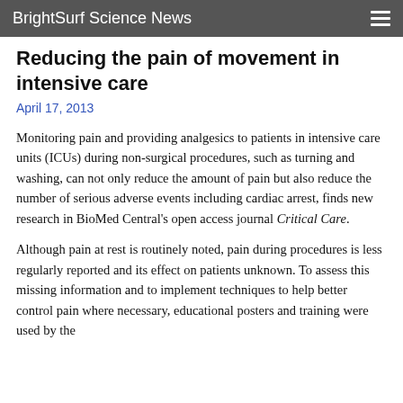BrightSurf Science News
Reducing the pain of movement in intensive care
April 17, 2013
Monitoring pain and providing analgesics to patients in intensive care units (ICUs) during non-surgical procedures, such as turning and washing, can not only reduce the amount of pain but also reduce the number of serious adverse events including cardiac arrest, finds new research in BioMed Central's open access journal Critical Care.
Although pain at rest is routinely noted, pain during procedures is less regularly reported and its effect on patients unknown. To assess this missing information and to implement techniques to help better control pain where necessary, educational posters and training were used by the